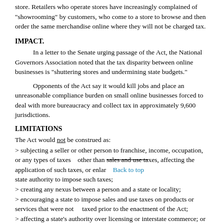store. Retailers who operate stores have increasingly complained of "showrooming" by customers, who come to a store to browse and then order the same merchandise online where they will not be charged tax.
IMPACT.
In a letter to the Senate urging passage of the Act, the National Governors Association noted that the tax disparity between online businesses is "shuttering stores and undermining state budgets."
Opponents of the Act say it would kill jobs and place an unreasonable compliance burden on small online businesses forced to deal with more bureaucracy and collect tax in approximately 9,600 jurisdictions.
LIMITATIONS
The Act would not be construed as:
> subjecting a seller or other person to franchise, income, occupation, or any types of taxes   other than sales and use taxes, affecting the application of such taxes, or enlarg     state authority to impose such taxes;
> creating any nexus between a person and a state or locality;
> encouraging a state to impose sales and use taxes on products or services that were not     taxed prior to the enactment of the Act;
> affecting a state's authority over licensing or interstate commerce; or
> preempting or limiting any power exercised by a state or local jurisdiction.
The provisions of the Act would apply only to remote sales and